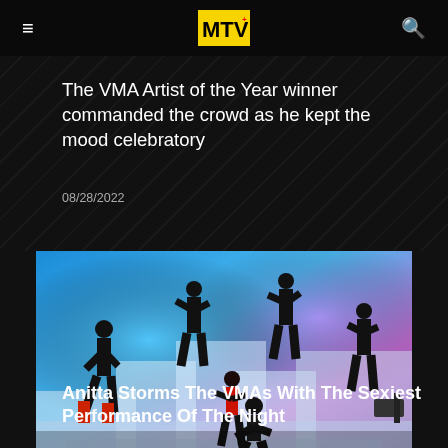MTV
The VMA Artist of the Year winner commanded the crowd as he kept the mood celebratory
08/28/2022
[Figure (photo): Performance at the VMAs with dancers in silhouette against blue and purple stage lighting, with a woman in red outfit center stage]
Anitta Storms The VMAs With The Sexiest Performance Of The Night